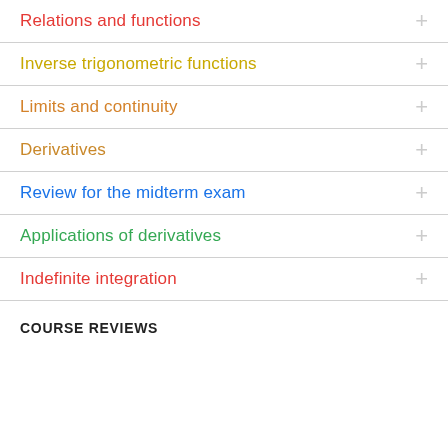Relations and functions
Inverse trigonometric functions
Limits and continuity
Derivatives
Review for the midterm exam
Applications of derivatives
Indefinite integration
COURSE REVIEWS